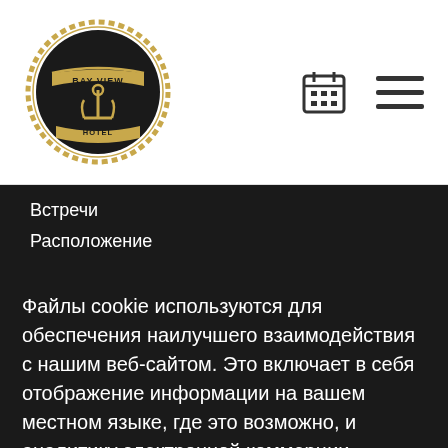[Figure (logo): Bay View Hotel circular logo with anchor and rope border, gold and dark colors]
[Figure (other): Calendar grid icon and hamburger menu icon in dark color, top right header]
Встречи
Расположение
Файлы cookie используются для обеспечения наилучшего взаимодействия с нашим веб-сайтом. Это включает в себя отображение информации на вашем местном языке, где это возможно, и аналитику электронной коммерции.
Политика в отношении файлов cookie
Управлять
Разрешить файлы cookie